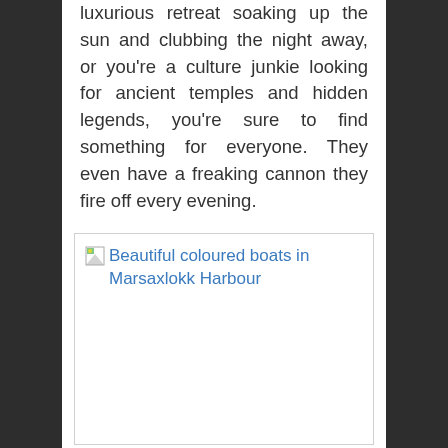luxurious retreat soaking up the sun and clubbing the night away, or you're a culture junkie looking for ancient temples and hidden legends, you're sure to find something for everyone. They even have a freaking cannon they fire off every evening.
[Figure (photo): Broken image placeholder with alt text: Beautiful coloured boats in Marsaxlokk Harbour]